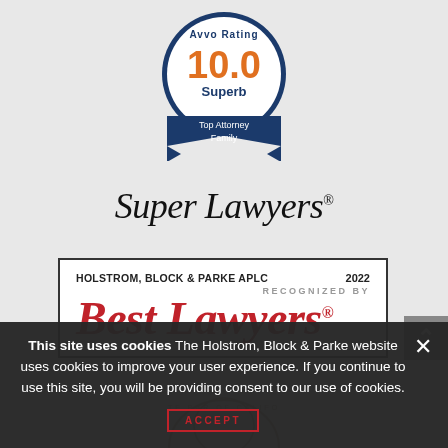[Figure (logo): Avvo Rating badge showing 10.0 Superb rating, Top Attorney Family, dark blue circular badge with ribbon]
[Figure (logo): Super Lawyers logo in serif black text with registered trademark symbol]
[Figure (logo): Best Lawyers recognition badge for Holstrom, Block & Parke APLC, 2022, white box with black border, red serif Best Lawyers text]
[Figure (logo): State Bar of California seal, partially visible at bottom]
This site uses cookies The Holstrom, Block & Parke website uses cookies to improve your user experience. If you continue to use this site, you will be providing consent to our use of cookies.